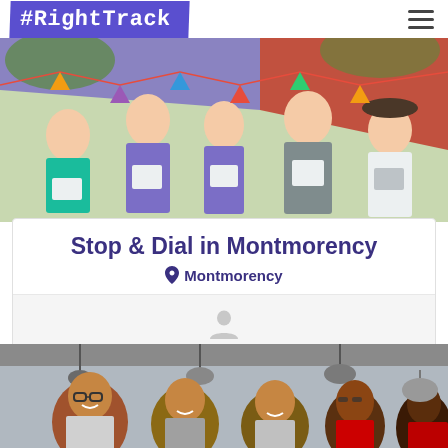#RightTrack
[Figure (photo): Group of five people standing outdoors at a community event, holding papers/certificates, with purple and red tents in the background.]
Stop & Dial in Montmorency
Montmorency
Jagajaga Right Track Working Group organised this event.
[Figure (photo): Group of men laughing together in a kitchen setting, with pots and pans visible in the background.]